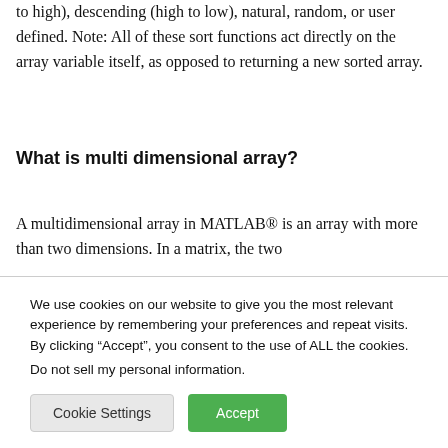to high), descending (high to low), natural, random, or user defined. Note: All of these sort functions act directly on the array variable itself, as opposed to returning a new sorted array.
What is multi dimensional array?
A multidimensional array in MATLAB® is an array with more than two dimensions. In a matrix, the two
We use cookies on our website to give you the most relevant experience by remembering your preferences and repeat visits. By clicking “Accept”, you consent to the use of ALL the cookies.
Do not sell my personal information.
Cookie Settings
Accept